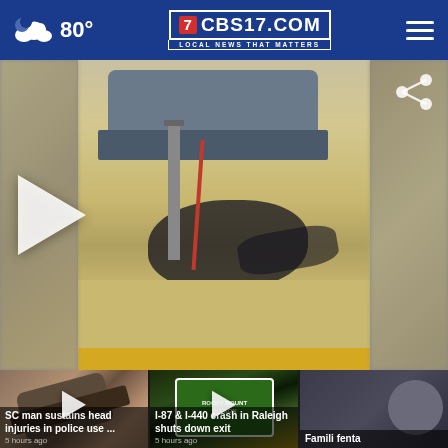80° CBS17.COM LOCAL NEWS THAT MATTERS
[Figure (screenshot): Video still showing police officers in an altercation on a street near a vehicle. Blurred edges on left and right with a play button on left side. Share icon in top right.]
[Figure (photo): SC man sustains head injuries in police use ... - news thumbnail with overturned vehicle]
SC man sustains head injuries in police use ...
5 hours ago
[Figure (photo): I-87 & I-440 crash in Raleigh shuts down exit - news thumbnail with highway green signs]
I-87 & I-440 crash in Raleigh shuts down exit
5 hours ago
[Figure (photo): Famili... fentar... - partial news thumbnail]
Famili fenta